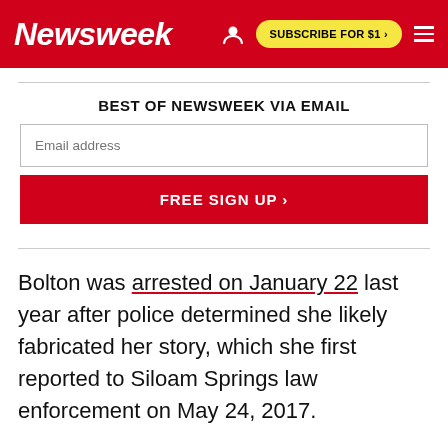Newsweek — SUBSCRIBE FOR $1 >
BEST OF NEWSWEEK VIA EMAIL
Email address
FREE SIGN UP >
Bolton was arrested on January 22 last year after police determined she likely fabricated her story, which she first reported to Siloam Springs law enforcement on May 24, 2017.
At the time, she claimed her husband attacked